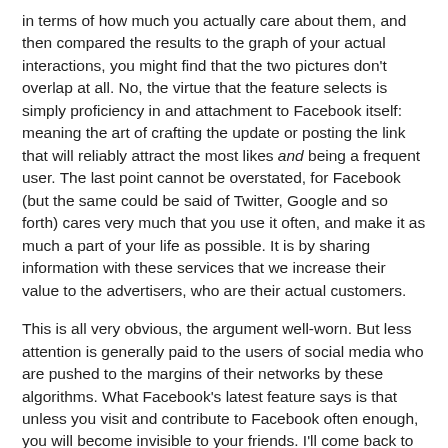in terms of how much you actually care about them, and then compared the results to the graph of your actual interactions, you might find that the two pictures don't overlap at all. No, the virtue that the feature selects is simply proficiency in and attachment to Facebook itself: meaning the art of crafting the update or posting the link that will reliably attract the most likes and being a frequent user. The last point cannot be overstated, for Facebook (but the same could be said of Twitter, Google and so forth) cares very much that you use it often, and make it as much a part of your life as possible. It is by sharing information with these services that we increase their value to the advertisers, who are their actual customers.
This is all very obvious, the argument well-worn. But less attention is generally paid to the users of social media who are pushed to the margins of their networks by these algorithms. What Facebook's latest feature says is that unless you visit and contribute to Facebook often enough, you will become invisible to your friends. I'll come back to this.